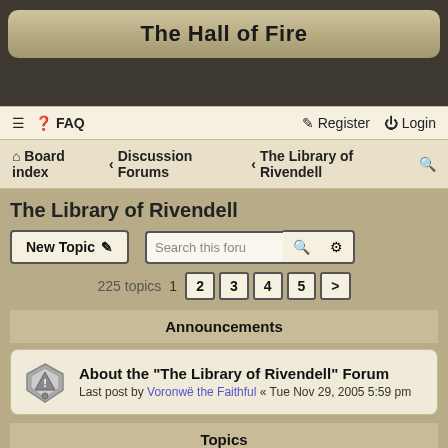The Hall of Fire
≡  FAQ    Register  Login
Board index Discussion Forums The Library of Rivendell
The Library of Rivendell
New Topic  Search this forum  225 topics  1 2 3 4 5 >
Announcements
About the "The Library of Rivendell" Forum
Last post by Voronwë the Faithful « Tue Nov 29, 2005 5:59 pm
Topics
Lúthien Before Morgoth's Throne
Last post by elengil « Sun Aug 28, 2022 2:15 am
Replies: 4